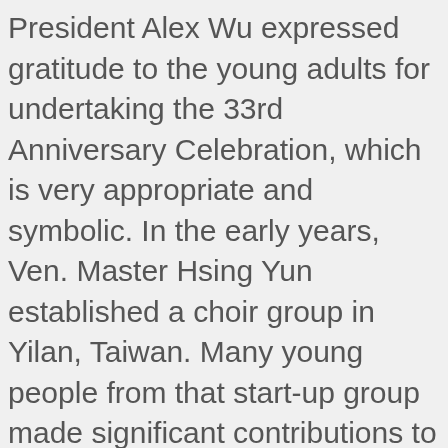President Alex Wu expressed gratitude to the young adults for undertaking the 33rd Anniversary Celebration, which is very appropriate and symbolic. In the early years, Ven. Master Hsing Yun established a choir group in Yilan, Taiwan. Many young people from that start-up group made significant contributions to Buddhism; the seeds are still growing today. For example, many of the senior venerables of Fo Guang Shan now came from this group of young people. It is always our continued hope that our young adults will creatively lead the way in spreading the Dharma.
In addition to watching historical films about the construction of Hsi Lai Temple, the students from the Fo Guang Hsi Lai Buddhist Academy and the YAD